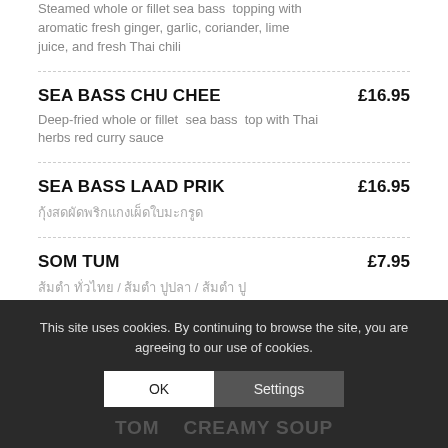Steamed whole or fillet sea bass  topping with aromatic fresh ginger, garlic, coriander, lime juice, and fresh Thai chili
SEA BASS CHU CHEE £16.95
Deep-fried whole or fillet  sea bass  top with Thai herbs red curry sauce
SEA BASS LAAD PRIK £16.95
กุ้งสดผัดพริกแกงเผ็ดใบมะกรูด
SOM TUM £7.95
ส้มตำ ทั่วไทย / ส้มตำ ปูปลา / ส้มตำ ปู
This site uses cookies. By continuing to browse the site, you are agreeing to our use of cookies.
TOM... CREAMY SOUP